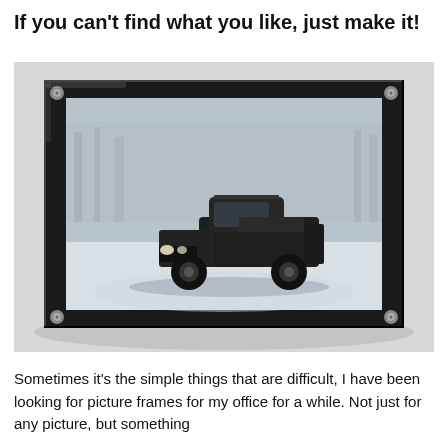If you can't find what you like, just make it!
[Figure (photo): A black pickup truck photographed in a snowy outdoor setting, displayed as a print inside a black acrylic frame with silver corner screws, placed on a light gray surface.]
Sometimes it's the simple things that are difficult, I have been looking for picture frames for my office for a while. Not just for any picture, but something